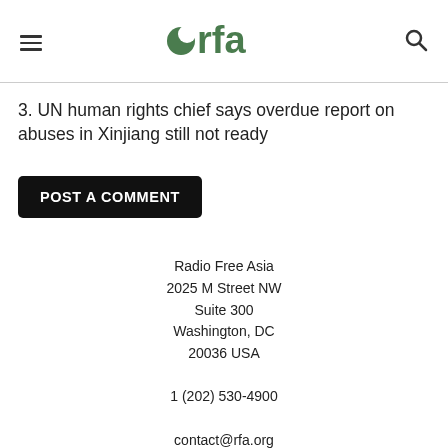rfa
3. UN human rights chief says overdue report on abuses in Xinjiang still not ready
POST A COMMENT
Radio Free Asia
2025 M Street NW
Suite 300
Washington, DC
20036 USA

1 (202) 530-4900

contact@rfa.org